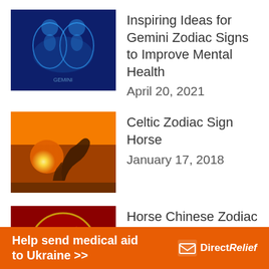[Figure (photo): Gemini zodiac sign illustration with two blue glowing figures on dark background]
Inspiring Ideas for Gemini Zodiac Signs to Improve Mental Health
April 20, 2021
[Figure (photo): Horse silhouette against a golden sunset sky]
Celtic Zodiac Sign Horse
January 17, 2018
[Figure (photo): Golden horse figurine on red background representing Chinese zodiac horse sign]
Horse Chinese Zodiac Sign Meaning and Chinese New Year
March 12, 2021
Help send medical aid to Ukraine >> DirectRelief